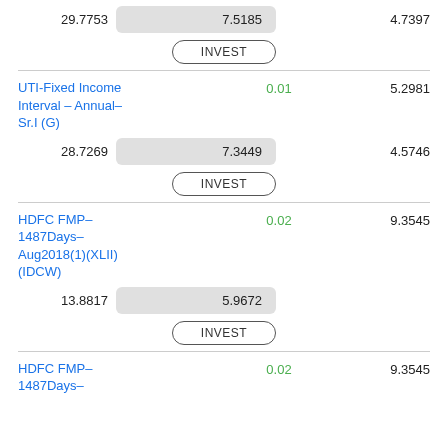29.7753   7.5185   4.7397
INVEST
UTI-Fixed Income Interval - Annual- Sr.I (G)   0.01   5.2981
28.7269   7.3449   4.5746
INVEST
HDFC FMP-1487Days-Aug2018(1)(XLII)(IDCW)   0.02   9.3545
13.8817   5.9672
INVEST
HDFC FMP-1487Days-   0.02   9.3545